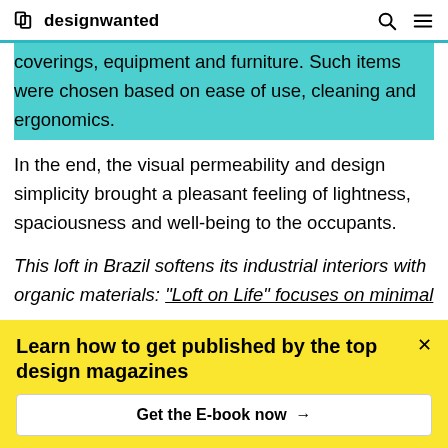designwanted
coverings, equipment and furniture. Such items were chosen based on ease of use, cleaning and ergonomics.
In the end, the visual permeability and design simplicity brought a pleasant feeling of lightness, spaciousness and well-being to the occupants.
This loft in Brazil softens its industrial interiors with organic materials: “Loft on Life” focuses on minimal
Learn how to get published by the top design magazines
Get the E-book now →